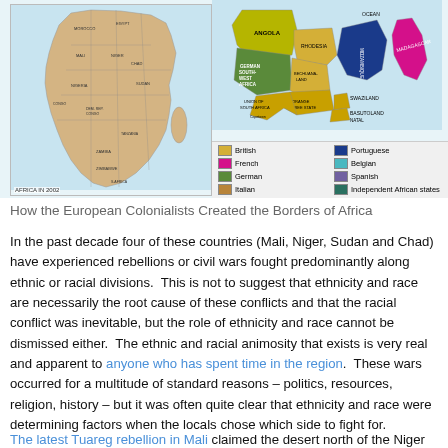[Figure (map): Two maps side by side: left shows Africa in 2002 with country borders and labels; right shows colonial-era Africa with territories colored by European colonial power. Legend shows British (yellow), French (magenta), German (green), Italian (tan), Portuguese (dark blue), Belgian (teal), Spanish (purple), and Independent African states (dark teal).]
How the European Colonialists Created the Borders of Africa
In the past decade four of these countries (Mali, Niger, Sudan and Chad) have experienced rebellions or civil wars fought predominantly along ethnic or racial divisions.  This is not to suggest that ethnicity and race are necessarily the root cause of these conflicts and that the racial conflict was inevitable, but the role of ethnicity and race cannot be dismissed either.  The ethnic and racial animosity that exists is very real and apparent to anyone who has spent time in the region.  These wars occurred for a multitude of standard reasons – politics, resources, religion, history – but it was often quite clear that ethnicity and race were determining factors when the locals chose which side to fight for.
The latest Tuareg rebellion in Mali claimed the desert north of the Niger